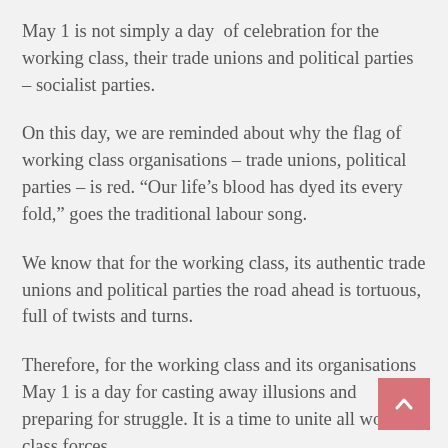May 1 is not simply a day of celebration for the working class, their trade unions and political parties – socialist parties.
On this day, we are reminded about why the flag of working class organisations – trade unions, political parties – is red. “Our life’s blood has dyed its every fold,” goes the traditional labour song.
We know that for the working class, its authentic trade unions and political parties the road ahead is tortuous, full of twists and turns.
Therefore, for the working class and its organisations May 1 is a day for casting away illusions and preparing for struggle. It is a time to unite all working class forces